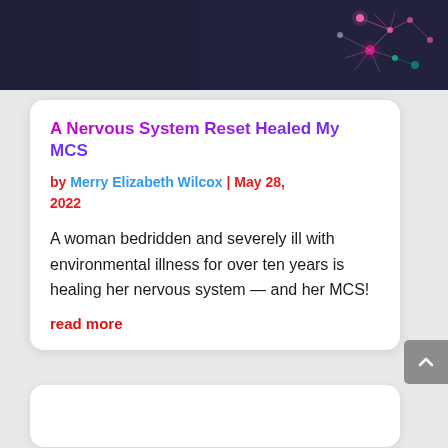[Figure (illustration): Dark navy banner image with colorful neuron/network illustration on right side — pink, green glowing neural network graphic on dark blue-purple background]
A Nervous System Reset Healed My MCS
by Merry Elizabeth Wilcox | May 28, 2022
A woman bedridden and severely ill with environmental illness for over ten years is healing her nervous system — and her MCS!
read more